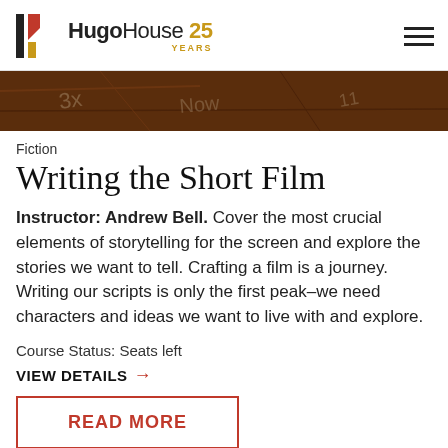Hugo House 25 YEARS
[Figure (photo): Dark brown wood surface with chalk or marker writing, used as hero image for the course page]
Fiction
Writing the Short Film
Instructor: Andrew Bell. Cover the most crucial elements of storytelling for the screen and explore the stories we want to tell. Crafting a film is a journey. Writing our scripts is only the first peak–we need characters and ideas we want to live with and explore.
Course Status: Seats left
VIEW DETAILS →
READ MORE